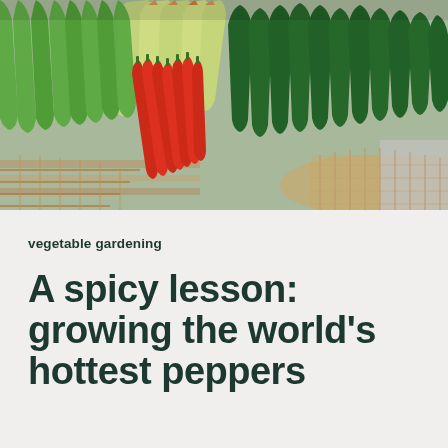[Figure (photo): Overhead view of a wicker basket filled with various chili peppers including green, light yellow-green, red, and dark green varieties arranged in a fan pattern on a wooden surface.]
vegetable gardening
A spicy lesson: growing the world's hottest peppers